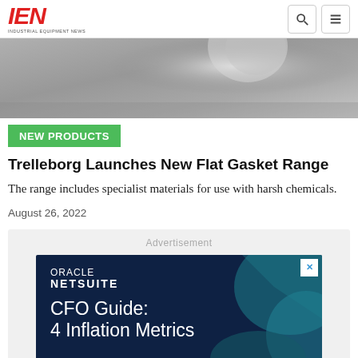IEN — INDUSTRIAL EQUIPMENT NEWS
[Figure (photo): Close-up grayscale photo of industrial equipment, likely a gasket or sealing component]
NEW PRODUCTS
Trelleborg Launches New Flat Gasket Range
The range includes specialist materials for use with harsh chemicals.
August 26, 2022
[Figure (screenshot): Oracle NetSuite advertisement banner showing 'CFO Guide: 4 Inflation Metrics' on a dark navy background with teal geometric shapes]